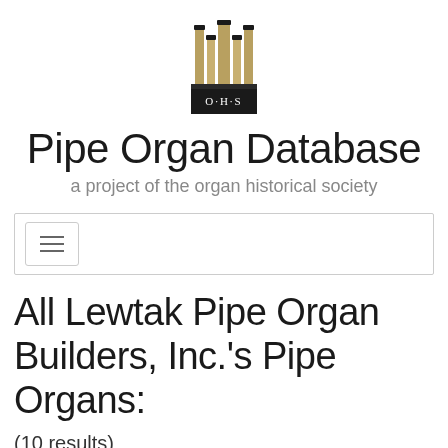[Figure (logo): OHS (Organ Historical Society) logo — pipe organ above a rectangular base with 'O·H·S' text]
Pipe Organ Database
a project of the organ historical society
[Figure (screenshot): Navigation bar with hamburger menu button (three horizontal lines)]
All Lewtak Pipe Organ Builders, Inc.'s Pipe Organs:
(10 results)
List View  Sort Results